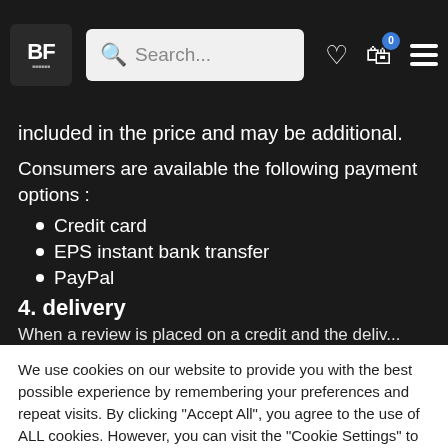BF [logo] Search... [heart icon] [cart icon with badge 0] [hamburger menu]
included in the price and may be additional.
Consumers are available the following payment options :
Credit card
EPS instant bank transfer
PayPal
4. delivery
When a review is placed on a credit and the deliv...
We use cookies on our website to provide you with the best possible experience by remembering your preferences and repeat visits. By clicking "Accept All", you agree to the use of ALL cookies. However, you can visit the "Cookie Settings" to give controlled consent.